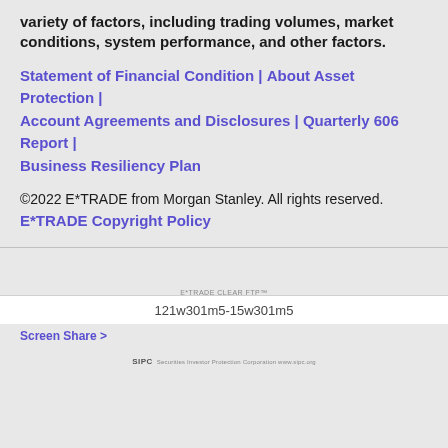variety of factors, including trading volumes, market conditions, system performance, and other factors.
Statement of Financial Condition | About Asset Protection | Account Agreements and Disclosures | Quarterly 606 Report | Business Resiliency Plan
©2022 E*TRADE from Morgan Stanley. All rights reserved. E*TRADE Copyright Policy
[Figure (logo): E*TRADE CLEAR FTP PROTECTION GUARANTEE logo]
[Figure (logo): SIPC logo with text]
121w301m5-15w301m5